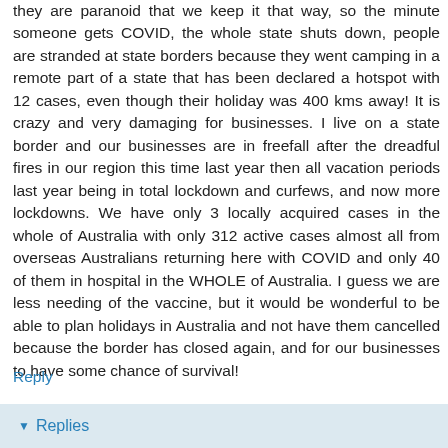they are paranoid that we keep it that way, so the minute someone gets COVID, the whole state shuts down, people are stranded at state borders because they went camping in a remote part of a state that has been declared a hotspot with 12 cases, even though their holiday was 400 kms away! It is crazy and very damaging for businesses. I live on a state border and our businesses are in freefall after the dreadful fires in our region this time last year then all vacation periods last year being in total lockdown and curfews, and now more lockdowns. We have only 3 locally acquired cases in the whole of Australia with only 312 active cases almost all from overseas Australians returning here with COVID and only 40 of them in hospital in the WHOLE of Australia. I guess we are less needing of the vaccine, but it would be wonderful to be able to plan holidays in Australia and not have them cancelled because the border has closed again, and for our businesses to have some chance of survival!
Reply
Replies